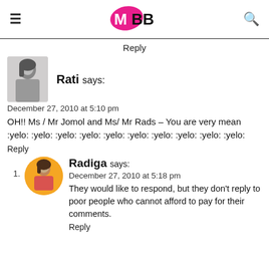IMBB (logo)
Reply
[Figure (photo): Avatar photo of Rati, a woman in black and white]
Rati says:
December 27, 2010 at 5:10 pm
OH!! Ms / Mr Jomol and Ms/ Mr Rads – You are very mean :yelo: :yelo: :yelo: :yelo: :yelo: :yelo: :yelo: :yelo: :yelo: :yelo:
Reply
[Figure (photo): Avatar photo of Radiga, a woman in red jacket on yellow background]
Radiga says:
December 27, 2010 at 5:18 pm
They would like to respond, but they don't reply to poor people who cannot afford to pay for their comments.
Reply